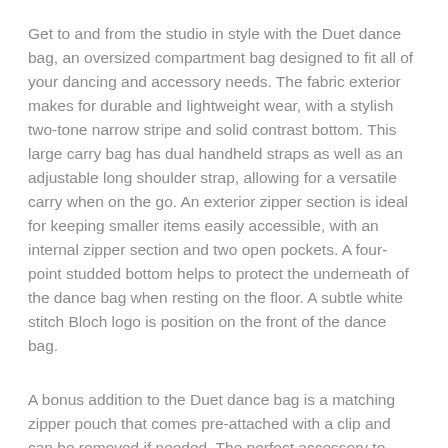Get to and from the studio in style with the Duet dance bag, an oversized compartment bag designed to fit all of your dancing and accessory needs. The fabric exterior makes for durable and lightweight wear, with a stylish two-tone narrow stripe and solid contrast bottom. This large carry bag has dual handheld straps as well as an adjustable long shoulder strap, allowing for a versatile carry when on the go. An exterior zipper section is ideal for keeping smaller items easily accessible, with an internal zipper section and two open pockets. A four-point studded bottom helps to protect the underneath of the dance bag when resting on the floor. A subtle white stitch Bloch logo is position on the front of the dance bag.
A bonus addition to the Duet dance bag is a matching zipper pouch that comes pre-attached with a clip and can be removed if needed. The perfect accessory to keep cosmetics and smaller accessories neatly